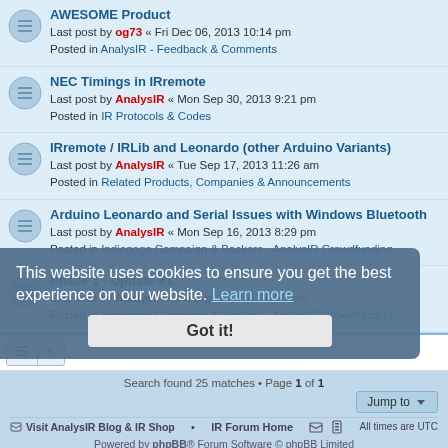AWESOME Product — Last post by og73 « Fri Dec 06, 2013 10:14 pm — Posted in AnalysIR - Feedback & Comments
NEC Timings in IRremote — Last post by AnalysIR « Mon Sep 30, 2013 9:21 pm — Posted in IR Protocols & Codes
IRremote / IRLib and Leonardo (other Arduino Variants) — Last post by AnalysIR « Tue Sep 17, 2013 11:26 am — Posted in Related Products, Companies & Announcements
Arduino Leonardo and Serial Issues with Windows Bluetooth — Last post by AnalysIR « Mon Sep 16, 2013 8:29 pm — Posted in Indiegogo Campaign & Backers - AnalysIR Crowdfunding
Phase 1 - Update #1 — Last post by AnalysIR « Fri Sep 13, 2013 6:33 pm — Posted in Indiegogo Campaign & Backers - AnalysIR Crowdfunding
Search found 25 matches • Page 1 of 1
Visit AnalysIR Blog & IR Shop • IR Forum Home | All times are UTC | Powered by phpBB® Forum Software © phpBB Limited | Privacy | Terms
This website uses cookies to ensure you get the best experience on our website. Learn more — Got it!